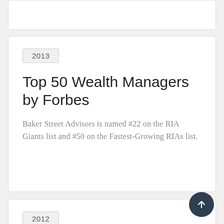2013
Top 50 Wealth Managers by Forbes
Baker Street Advisors is named #22 on the RIA Giants list and #50 on the Fastest-Growing RIAs list.
2012